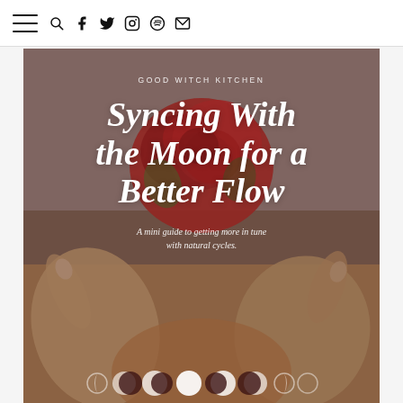Navigation bar with hamburger menu, search, facebook, twitter, instagram, spotify, mail icons
[Figure (photo): Hands holding a red rose bouquet with text overlay on a muted warm-toned background]
GOOD WITCH KITCHEN
Syncing With the Moon for a Better Flow
A mini guide to getting more in tune with natural cycles.